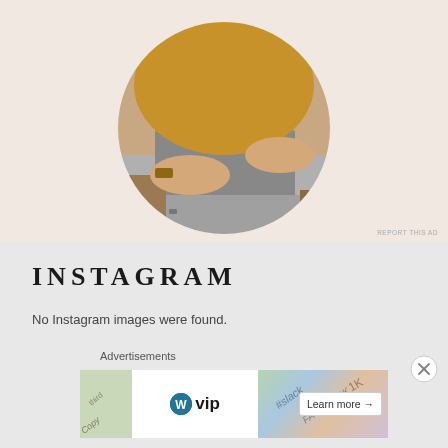[Figure (photo): Circular cropped photo of a person's hands typing on a laptop keyboard placed on a wooden table. The person is wearing a mustard/golden brown sweater and bracelets. The background of the section is a light peach/beige color.]
REPORT THIS AD
INSTAGRAM
No Instagram images were found.
Advertisements
[Figure (screenshot): Advertisement banner showing WordPress VIP logo on the left with colorful background cards (Slack, Facebook, etc.) on the right and a 'Learn more →' button.]